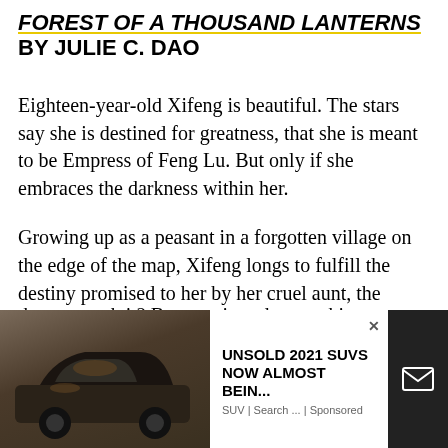FOREST OF A THOUSAND LANTERNS BY JULIE C. DAO
Eighteen-year-old Xifeng is beautiful. The stars say she is destined for greatness, that she is meant to be Empress of Feng Lu. But only if she embraces the darkness within her.
Growing up as a peasant in a forgotten village on the edge of the map, Xifeng longs to fulfill the destiny promised to her by her cruel aunt, the witch Guma, who has read the cards and seen glimmers of Xifeng's majestic future. But is the price of the [throne worth it? Because in order to achieve...]
[Figure (photo): Advertisement overlay showing a dark SUV/car photo on the left with an ad for 'UNSOLD 2021 SUVS NOW ALMOST BEIN...' from 'SUV | Search ... | Sponsored', with a close button (x) and an email icon on the right side.]